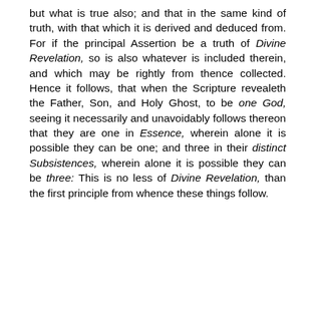but what is true also; and that in the same kind of truth, with that which it is derived and deduced from. For if the principal Assertion be a truth of Divine Revelation, so is also whatever is included therein, and which may be rightly from thence collected. Hence it follows, that when the Scripture revealeth the Father, Son, and Holy Ghost, to be one God, seeing it necessarily and unavoidably follows thereon that they are one in Essence, wherein alone it is possible they can be one; and three in their distinct Subsistences, wherein alone it is possible they can be three: This is no less of Divine Revelation, than the first principle from whence these things follow.